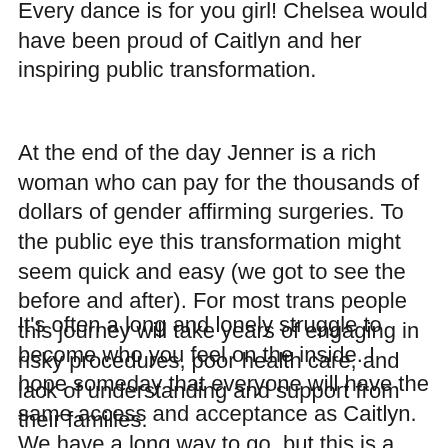Every dance is for you girl! Chelsea would have been proud of Caitlyn and her inspiring public transformation.
At the end of the day Jenner is a rich woman who can pay for the thousands of dollars of gender affirming surgeries. To the public eye this transformation might seem quick and easy (we got to see the before and after). For most trans people this journey will take years of engaging in risky procedures, poor health care, and lack of understanding and support from their families.
It's often a long and lonely struggle to become who you feel on the inside. I hope someday that everyone will have the same access and acceptance as Caitlyn. We have a long way to go, but this is a step in the right direction. Nobody should be afraid to let their true light shine.